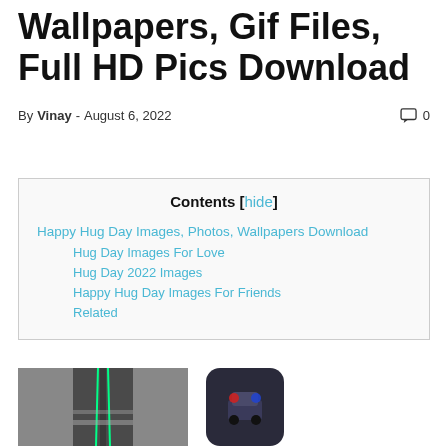Wallpapers, Gif Files, Full HD Pics Download
By Vinay - August 6, 2022  💬 0
| Contents [hide] |
| Happy Hug Day Images, Photos, Wallpapers Download |
| Hug Day Images For Love |
| Hug Day 2022 Images |
| Happy Hug Day Images For Friends |
| Related |
[Figure (photo): Road/street scene screenshot from a driving game]
[Figure (screenshot): Police car camera app icon, rounded square with dark blue background and red/blue lights]